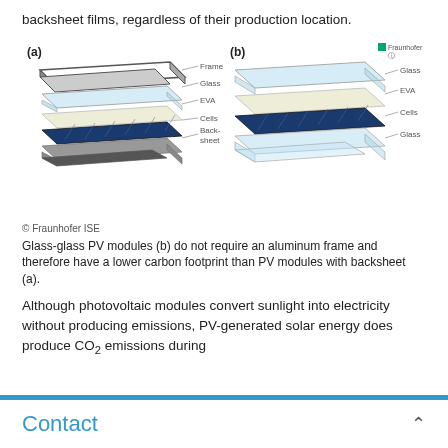backsheet films, regardless of their production location.
[Figure (engineering-diagram): Two exploded-view diagrams of PV module structures. (a) shows a framed module with layers labeled: Frame, Glass, EVA, Cells, Backsheet. (b) shows a glass-glass module with layers labeled: Glass, EVA, Cells, Glass. Fraunhofer ISE logo in corner of (b).]
© Fraunhofer ISE
Glass-glass PV modules (b) do not require an aluminum frame and therefore have a lower carbon footprint than PV modules with backsheet (a).
Although photovoltaic modules convert sunlight into electricity without producing emissions, PV-generated solar energy does produce CO₂ emissions during
Contact